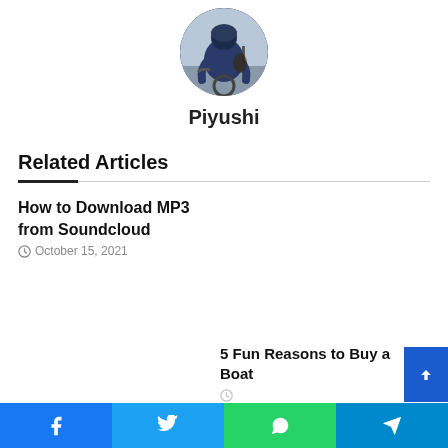[Figure (photo): Circular profile photo of a person seen from behind, wearing a blue jacket, sitting on a bicycle/motorcycle, with a blurred outdoor background.]
Piyushi
Related Articles
How to Download MP3 from Soundcloud
October 15, 2021
5 Fun Reasons to Buy a Boat